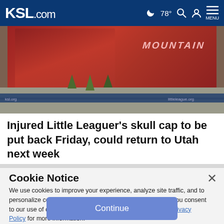KSL.com  🌙 78° 🔍 👤 MENU
[Figure (photo): A large billboard featuring a baseball player in red uniform with the text 'MOUNTAIN', mounted on poles at a Little League complex. Trees and a retaining wall are visible in the background, along with a banner for an organization at the bottom.]
Injured Little Leaguer's skull cap to be put back Friday, could return to Utah next week
Cookie Notice
We use cookies to improve your experience, analyze site traffic, and to personalize content and ads. By continuing to use our site, you consent to our use of cookies. Please visit our Terms of Use and  Privacy Policy for more information.
Continue